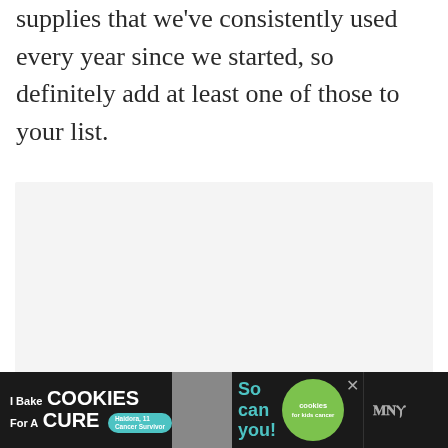supplies that we've consistently used every year since we started, so definitely add at least one of those to your list.
[Figure (other): Image carousel placeholder with light gray background and three navigation dots below]
[Figure (other): Advertisement banner at the bottom: 'I Bake COOKIES For A CURE' with cookies for kids cancer branding, photo of child, and 'So can you!' text]